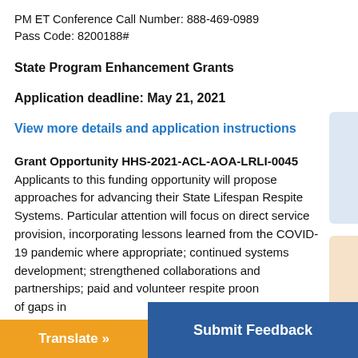PM ET Conference Call Number: 888-469-0989
Pass Code: 8200188#
State Program Enhancement Grants
Application deadline: May 21, 2021
View more details and application instructions
Grant Opportunity HHS-2021-ACL-AOA-LRLI-0045 Applicants to this funding opportunity will propose approaches for advancing their State Lifespan Respite Systems. Particular attention will focus on direct service provision, incorporating lessons learned from the COVID-19 pandemic where appropriate; continued systems development; strengthened collaborations and partnerships; paid and volunteer respite pro...ion and ...of gaps in